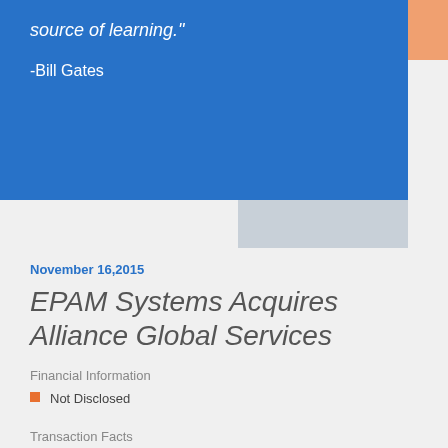source of learning."
-Bill Gates
November 16,2015
EPAM Systems Acquires Alliance Global Services
Financial Information
Not Disclosed
Transaction Facts
EPAM Systems (NYSE: EPAM) announced today its acquisition of software solutions provider Alliance Global Services, for an undisclosed amount.